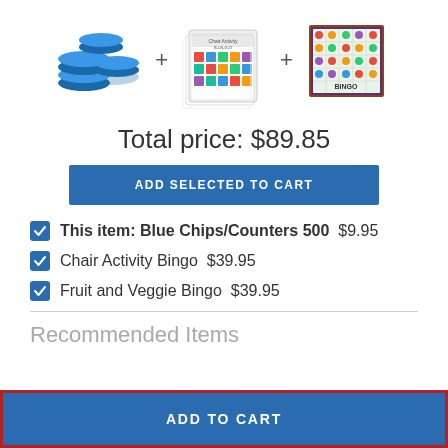[Figure (photo): Three product images: blue chips/counters, Chair Activity Bingo card set, and Fruit and Veggie Bingo board, separated by plus signs]
Total price: $89.85
ADD SELECTED TO CART
This item: Blue Chips/Counters 500  $9.95
Chair Activity Bingo  $39.95
Fruit and Veggie Bingo  $39.95
Recommended Items
ADD TO CART